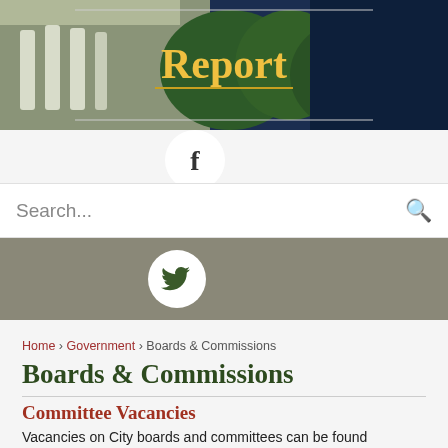[Figure (screenshot): Government city website header with 'Report' title in gold text on dark navy background with building and trees photo, plus Facebook circle icon]
[Figure (screenshot): Search bar with 'Search...' placeholder and magnifying glass icon]
[Figure (screenshot): Gray social media bar with Twitter bird circle icon]
Home › Government › Boards & Commissions
Boards & Commissions
Committee Vacancies
Vacancies on City boards and committees can be found